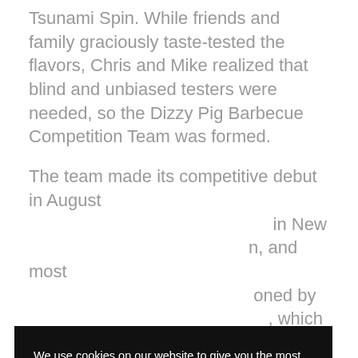Tsunami Spin. While friends and family graciously taste-tested the flavors, Chris and Mike realized that blind and unbiased testers were needed, so the Dizzy Pig Barbecue Competition Team was formed.
The team made its competitive debut in August ... in New ... n, and most ... oned by ... which used ... er. This ... main ... o us to be ... nd testing Dizzy Pig's spice blends. Since New Holland, the
We use cookies on our website to give you the most relevant experience by remembering your preferences and repeat visits. By hitting the accept button, you consent to the use of methods by us and the chosen third parties. Read More
Cookie settings
ACCEPT